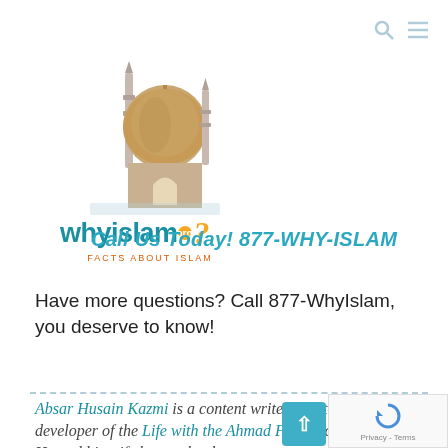[Figure (logo): WhyIslam.org logo with mosque silhouette, teal wordmark 'whyislam' with orange question mark and .org badge, tagline 'FACTS ABOUT ISLAM']
Call Us Today! 877-WHY-ISLAM
Have more questions? Call 877-WhyIslam, you deserve to know!
Absar Husain Kazmi is a content writer, illustrator and the developer of the Life with the Ahmad Family comic series. He and his wife homeschool